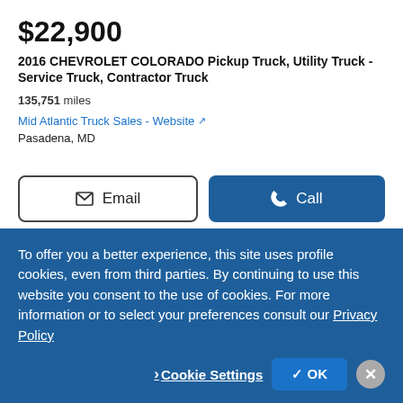$22,900
2016 CHEVROLET COLORADO Pickup Truck, Utility Truck - Service Truck, Contractor Truck
135,751 miles
Mid Atlantic Truck Sales - Website
Pasadena, MD
[Figure (photo): Exterior photo of a white Chevrolet Colorado pickup truck in a dealership lot with other vehicles visible in the background]
To offer you a better experience, this site uses profile cookies, even from third parties. By continuing to use this website you consent to the use of cookies. For more information or to select your preferences consult our Privacy Policy